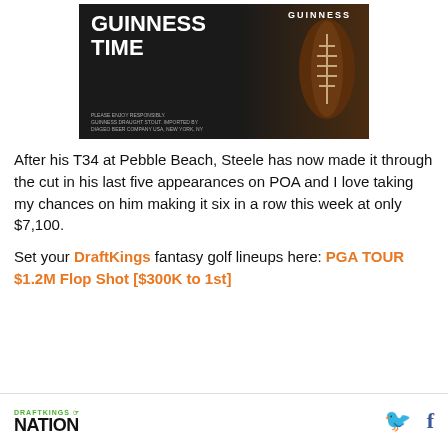[Figure (photo): Guinness Time advertisement banner showing a football shaped like a Guinness stout glass with text 'GUINNESS TIME' on dark background. Small disclaimer text at bottom reads 'PLEASE ENJOY RESPONSIBLY. GUINNESS DRAUGHT STOUT. IMPORTED BY DIAGEO BEER COMPANY USA, NEW YORK, NY']
After his T34 at Pebble Beach, Steele has now made it through the cut in his last five appearances on POA and I love taking my chances on him making it six in a row this week at only $7,100.
Set your DraftKings fantasy golf lineups here: PGA TOUR $1.2M Flop Shot [$300K to 1st]
DRAFTKINGS NATION